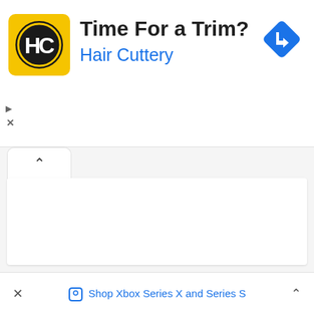[Figure (screenshot): Hair Cuttery advertisement banner with yellow logo showing HC initials in a circle, headline 'Time For a Trim?', brand name 'Hair Cuttery' in blue, and a blue diamond navigation icon on the right.]
Time For a Trim?
Hair Cuttery
[Figure (screenshot): UI element: white rounded tab with upward caret chevron, indicating a collapsible panel.]
[Figure (screenshot): Bottom bar advertisement strip with close X button, Xbox tag icon, blue text 'Shop Xbox Series X and Series S', and upward caret.]
Shop Xbox Series X and Series S